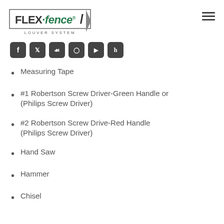[Figure (logo): FLEX-fence Louver System logo with social media icons (Facebook, Twitter, Pinterest, Instagram, YouTube, Houzz)]
Measuring Tape
#1 Robertson Screw Driver-Green Handle or (Philips Screw Driver)
#2 Robertson Screw Drive-Red Handle (Philips Screw Driver)
Hand Saw
Hammer
Chisel